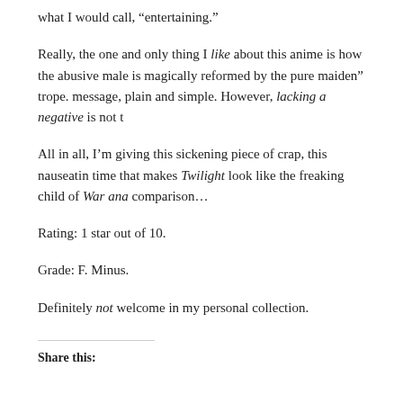what I would call, “entertaining.”
Really, the one and only thing I like about this anime is how the abusive male is magically reformed by the pure maiden” trope. message, plain and simple. However, lacking a negative is not t
All in all, I’m giving this sickening piece of crap, this nauseatin time that makes Twilight look like the freaking child of War ana comparison…
Rating: 1 star out of 10.
Grade: F. Minus.
Definitely not welcome in my personal collection.
Share this: